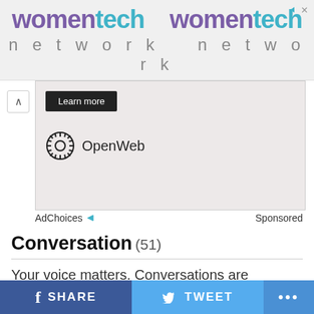[Figure (logo): WomenTech Network banner advertisement with purple and teal text repeated twice, with close button]
[Figure (screenshot): Ad widget area showing a Learn more button and OpenWeb logo on a light pink/gray background]
AdChoices  Sponsored
Conversation (51)
Your voice matters. Conversations are moderated for civility. Read the community guidelines here.
Commenting as Guest  Log in | Sign up
What do you think?
SHARE  TWEET  ...